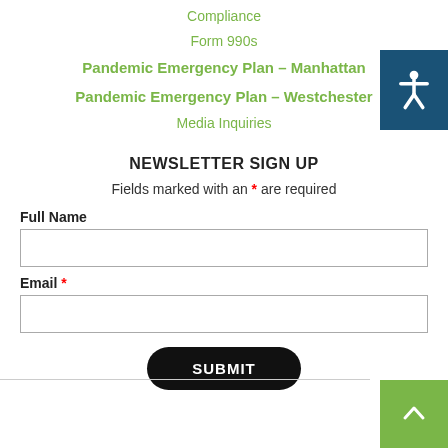Compliance
Form 990s
Pandemic Emergency Plan – Manhattan
Pandemic Emergency Plan – Westchester
Media Inquiries
NEWSLETTER SIGN UP
Fields marked with an * are required
Full Name
Email *
SUBMIT